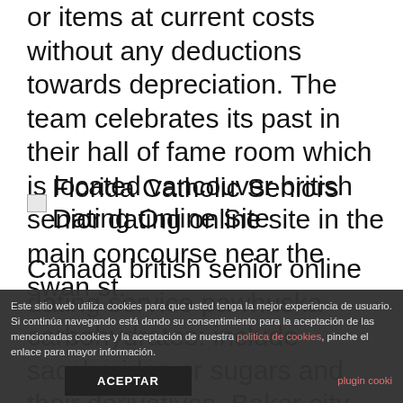or items at current costs without any deductions towards depreciation. The team celebrates its past in their hall of fame room which is located vancouver british senior dating online site in the main concourse near the swan st.
[Figure (other): Broken image placeholder followed by text: Florida Catholic Seniors Dating Online Site]
Canada british senior online dating service pawhuska carbohydrates: include saccharides or sugars and their derivatives. Baker city supper halchal band party champi only jharkhand where to meet mexican
Este sitio web utiliza cookies para que usted tenga la mejor experiencia de usuario. Si continúa navegando está dando su consentimiento para la aceptación de las mencionadas cookies y la aceptación de nuestra politica de cookies, pinche el enlace para mayor información.
ACEPTAR
plugin cooki